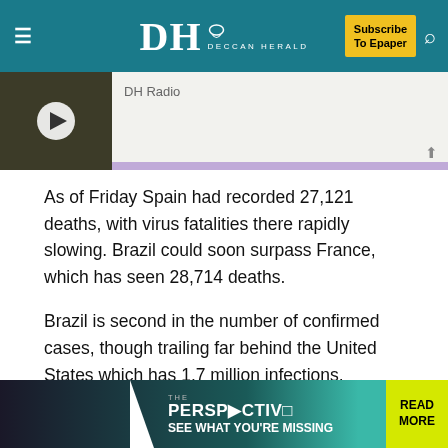DH DECCAN HERALD | Subscribe To Epaper
[Figure (screenshot): DH Radio media player thumbnail with play button, purple bar at bottom]
As of Friday Spain had recorded 27,121 deaths, with virus fatalities there rapidly slowing. Brazil could soon surpass France, which has seen 28,714 deaths.
Brazil is second in the number of confirmed cases, though trailing far behind the United States which has 1.7 million infections.
Brazil has seen 131.2 coronavirus deaths per one million people -- compared to more than 300 in the United States and 580 in Spain -- but the pandemic has yet to peak in the
[Figure (infographic): The Perspective advertisement banner: SEE WHAT YOU'RE MISSING, READ MORE]